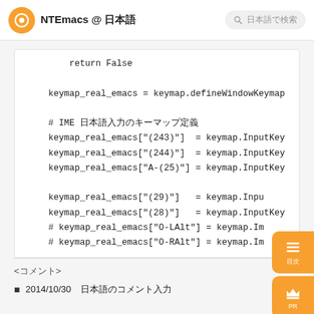NTEmacs @ 日本語
return False

keymap_real_emacs = keymap.defineWindowKeymap

# IME 日本語入力のキーマップ定義
keymap_real_emacs["(243)"] = keymap.InputKey
keymap_real_emacs["(244)"] = keymap.InputKey
keymap_real_emacs["A-(25)"] = keymap.InputKey

keymap_real_emacs["(29)"]  = keymap.InputKey
keymap_real_emacs["(28)"]  = keymap.InputKey
# keymap_real_emacs["O-LAlt"] = keymap.Im
# keymap_real_emacs["O-RAlt"] = keymap.Im
<コメント>
2014/10/30　日本語のコメント入力